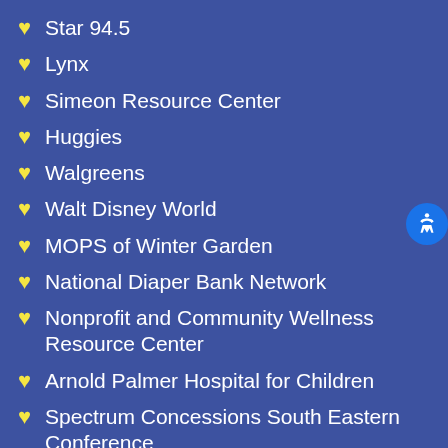Star 94.5
Lynx
Simeon Resource Center
Huggies
Walgreens
Walt Disney World
MOPS of Winter Garden
National Diaper Bank Network
Nonprofit and Community Wellness Resource Center
Arnold Palmer Hospital for Children
Spectrum Concessions South Eastern Conference
SDA Women Ministries
West Orange Church of Christ Women's